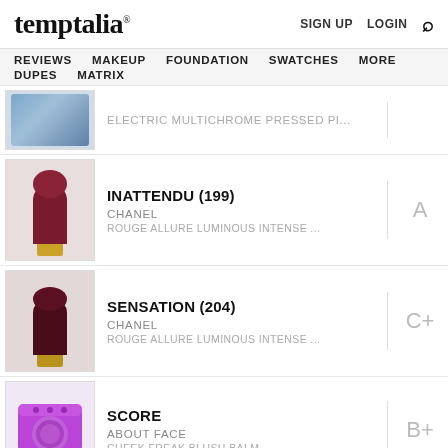temptalia® — SIGN UP  LOGIN  🔍
REVIEWS  MAKEUP  FOUNDATION  SWATCHES  MORE  DUPES  MATRIX
ELECTRIC MULTICHROME PRESSED PI...
INATTENDU (199)
CHANEL
ROUGE ALLURE LUMINOUS INTENSE ...
A
SENSATION (204)
CHANEL
ROUGE ALLURE LUMINOUS INTENSE ...
C+
SCORE
ABOUT FACE
CHEEK FREAK BLUSH BALM
B+